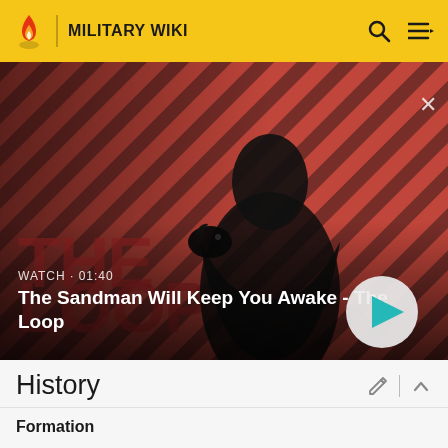MILITARY WIKI
[Figure (screenshot): Video thumbnail showing a dark-clothed figure with a raven on their shoulder against a red diagonal striped background, with 'THE LOOP' text overlaid. Watch time 01:40.]
WATCH · 01:40
The Sandman Will Keep You Awake - The Loop
History
Formation
Before the formation of the Indonesian Republic, the